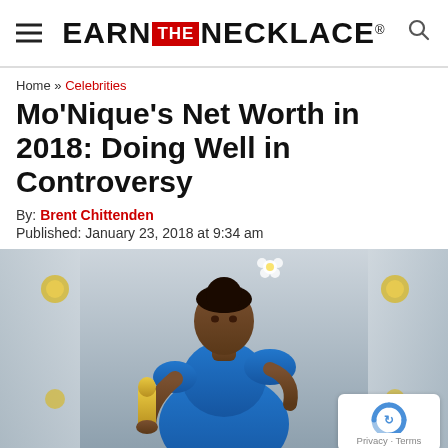EARN THE NECKLACE®
Home » Celebrities
Mo'Nique's Net Worth in 2018: Doing Well in Controversy
By: Brent Chittenden
Published: January 23, 2018 at 9:34 am
[Figure (photo): Mo'Nique in a blue dress holding an Academy Award (Oscar) statuette, photographed at what appears to be an Oscar event with curtains and Oscar decorations in the background.]
Privacy · Terms